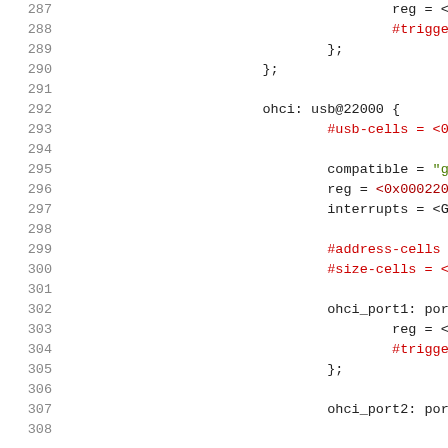Source code listing lines 287-307 showing device tree configuration for OHCI USB controller, including ohci: usb@22000 node definition with properties such as #usb-cells, compatible, reg, interrupts, #address-cells, #size-cells, and child nodes ohci_port1 and ohci_port2.